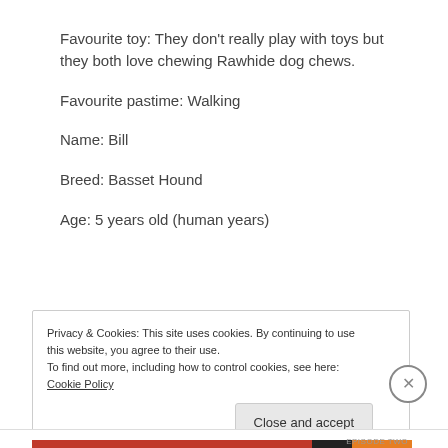Favourite toy: They don’t really play with toys but they both love chewing Rawhide dog chews.
Favourite pastime: Walking
Name: Bill
Breed: Basset Hound
Age: 5 years old (human years)
Privacy & Cookies: This site uses cookies. By continuing to use this website, you agree to their use.
To find out more, including how to control cookies, see here: Cookie Policy
Close and accept